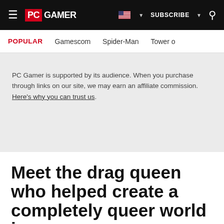PC GAMER | SUBSCRIBE | Search
POPULAR   Gamescom   Spider-Man   Tower o
PC Gamer is supported by its audience. When you purchase through links on our site, we may earn an affiliate commission. Here's why you can trust us.
Meet the drag queen who helped create a completely queer world in